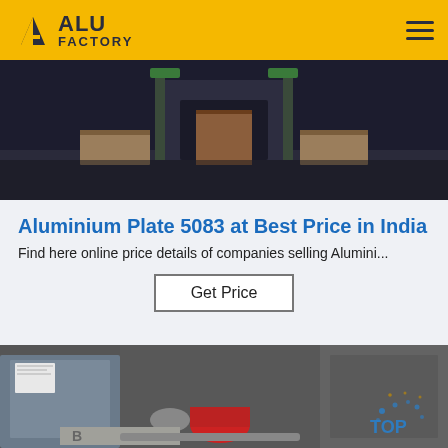ALU FACTORY
[Figure (photo): Top-down view of industrial machinery or equipment in a factory, dark background with wooden/metal structures.]
Aluminium Plate 5083 at Best Price in India
Find here online price details of companies selling Alumini...
Get Price
[Figure (photo): Factory floor showing industrial machinery, metal plates, and manufacturing equipment with a TOP logo watermark in the bottom right.]